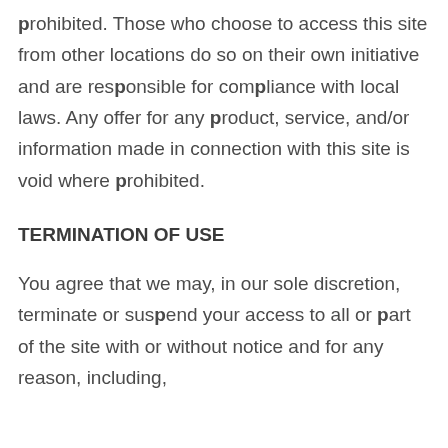prohibited. Those who choose to access this site from other locations do so on their own initiative and are responsible for compliance with local laws. Any offer for any product, service, and/or information made in connection with this site is void where prohibited.
TERMINATION OF USE
You agree that we may, in our sole discretion, terminate or suspend your access to all or part of the site with or without notice and for any reason, including,